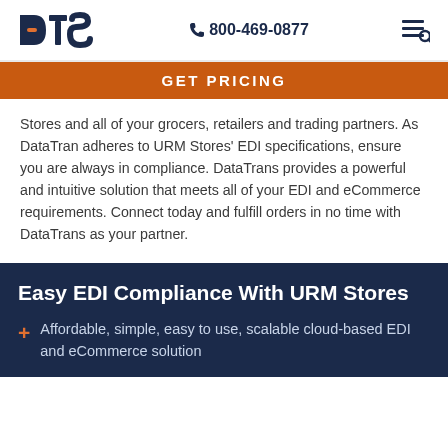DTS  800-469-0877
GET PRICING
Stores and all of your grocers, retailers and trading partners. As DataTran adheres to URM Stores' EDI specifications, ensure you are always in compliance. DataTrans provides a powerful and intuitive solution that meets all of your EDI and eCommerce requirements. Connect today and fulfill orders in no time with DataTrans as your partner.
Easy EDI Compliance With URM Stores
Affordable, simple, easy to use, scalable cloud-based EDI and eCommerce solution